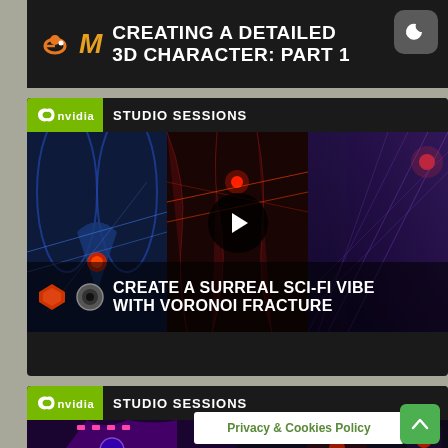[Figure (screenshot): Video thumbnail card: Blender and M logos with title 'CREATING A DETAILED 3D CHARACTER: PART 1' on dark background with moon/dark-mode icon]
[Figure (screenshot): NVIDIA Studio Sessions card featuring 'CREATE A SURREAL SCI-FI VIBE WITH VORONOI FRACTURE' — three sci-fi 3D art panels with a play button overlay, plugin logos at bottom]
[Figure (screenshot): Second NVIDIA Studio Sessions card partially visible at bottom with sci-fi robot character imagery]
Privacy & Cookies Policy